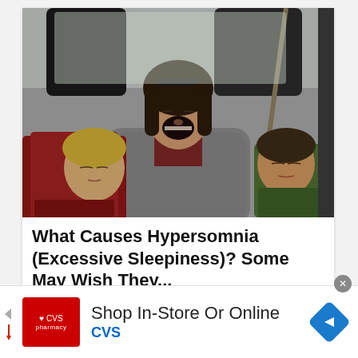[Figure (photo): A woman sitting in the back seat of a car, yawning with mouth wide open and eyes closed. A young child sleeps against her left side wrapped in a red blanket, and an older child sleeps against her right side wearing a green jacket.]
What Causes Hypersomnia (Excessive Sleepiness)? Some May Wish They...
Hypersomnia | Search Ads | Sponsored
[Figure (advertisement): CVS Pharmacy advertisement banner. Red CVS pharmacy logo on left. Text reads 'Shop In-Store Or Online' and 'CVS' in blue. Blue diamond navigation arrow icon on right. Navigation arrows on left side.]